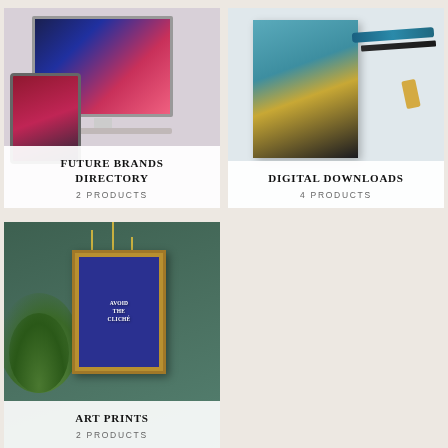[Figure (photo): Website and tablet mockup showing a fashion/design portfolio with colorful graphics]
FUTURE BRANDS DIRECTORY
2 PRODUCTS
[Figure (photo): Flatlay of a teal/blue booklet with tropical pattern, a pen, and a paperclip on white background]
DIGITAL DOWNLOADS
4 PRODUCTS
[Figure (photo): Interior scene with hanging globe pendant lights, tropical plant, and framed art print on teal wall reading AVOID THE CLICHÉ]
ART PRINTS
2 PRODUCTS